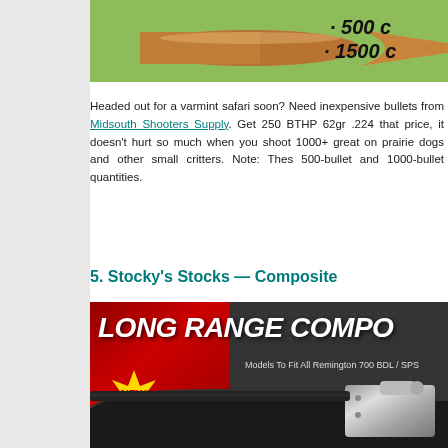[Figure (photo): Cropped image of a copper bullet/projectile on green background with text overlay showing '· 500 c' and '· 1500 c' (partially visible)]
Headed out for a varmint safari soon? Need inexpensive bullets from Midsouth Shooters Supply. Get 250 BTHP 62gr .224 that price, it doesn't hurt so much when you shoot 1000+ great on prairie dogs and other small critters. Note: These 500-bullet and 1000-bullet quantities.
5. Stocky's Stocks — Composite
[Figure (photo): Advertisement image for Stocky's Stocks Long Range Composite rifle stocks. Shows 'LONG RANGE COMPO' text in bold white italic on red/dark background with hexagon pattern. Includes 'NEW!' starburst, 'Models To Fit All Remington 700 BDL / SPS' subtitle, and photo of a black rifle stock with silver/chrome action.]